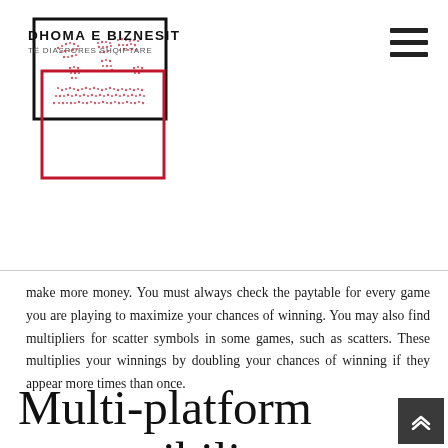DHOMA E BIZNESIT | TË DIASPORES SHQIPTARE
make more money. You must always check the paytable for every game you are playing to maximize your chances of winning. You may also find multipliers for scatter symbols in some games, such as scatters. These multiplies your winnings by doubling your chances of winning if they appear more times than once.
Multi-platform compatibility
Platforms are vital when it is about playing online casinos.